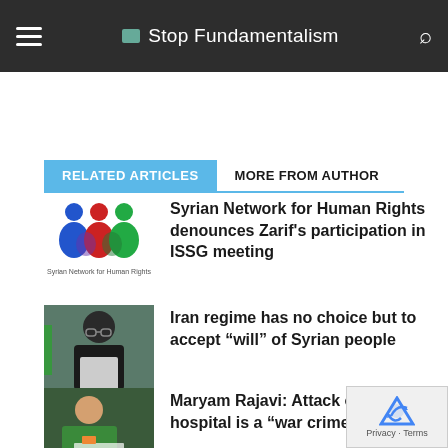Stop Fundamentalism
RELATED ARTICLES | MORE FROM AUTHOR
Syrian Network for Human Rights denounces Zarif's participation in ISSG meeting
Iran regime has no choice but to accept “will” of Syrian people
Maryam Rajavi: Attack on Aleppo hospital is a “war crime”